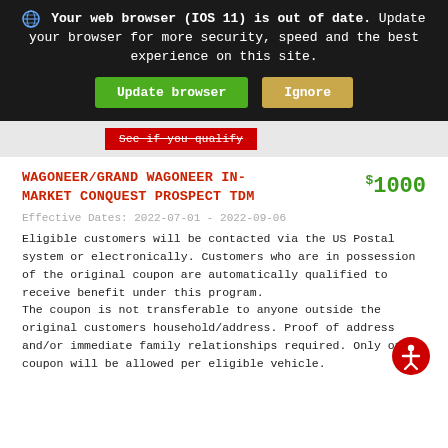Your web browser (IOS 11) is out of date. Update your browser for more security, speed and the best experience on this site. [Update browser] [Ignore]
See if you qualify
WAGONEER/GRAND WAGONEER IN-MARKET CONQUEST PROSPECT TDM
$1000
Effective Dates: 2022-07-01 - 2022-09-06
Eligible customers will be contacted via the US Postal system or electronically. Customers who are in possession of the original coupon are automatically qualified to receive benefit under this program.
The coupon is not transferable to anyone outside the original customers household/address. Proof of address and/or immediate family relationships required. Only one coupon will be allowed per eligible vehicle.